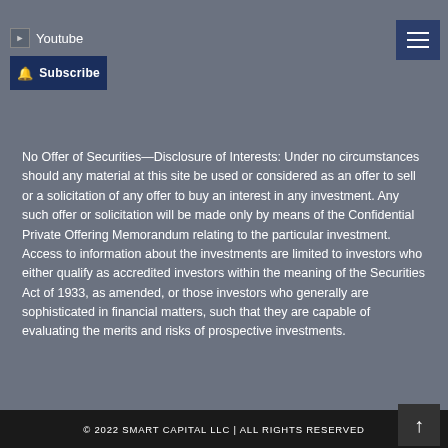Youtube
No Offer of Securities—Disclosure of Interests: Under no circumstances should any material at this site be used or considered as an offer to sell or a solicitation of any offer to buy an interest in any investment. Any such offer or solicitation will be made only by means of the Confidential Private Offering Memorandum relating to the particular investment. Access to information about the investments are limited to investors who either qualify as accredited investors within the meaning of the Securities Act of 1933, as amended, or those investors who generally are sophisticated in financial matters, such that they are capable of evaluating the merits and risks of prospective investments.
© 2022 SMART CAPITAL LLC | ALL RIGHTS RESERVED